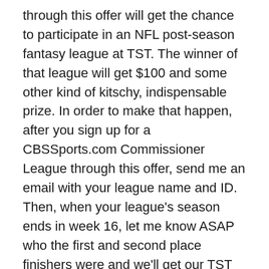through this offer will get the chance to participate in an NFL post-season fantasy league at TST. The winner of that league will get $100 and some other kind of kitschy, indispensable prize. In order to make that happen, after you sign up for a CBSSports.com Commissioner League through this offer, send me an email with your league name and ID. Then, when your league's season ends in week 16, let me know ASAP who the first and second place finishers were and we'll get our TST playoff league set up.
So, get your buddies and get signed up for the half-priced Commissioner League and let me know ASAP. Have at it.
Legal language
CBSSports.com is an SB Nation partner and paying sponsor of the SB Nation football communities. This post